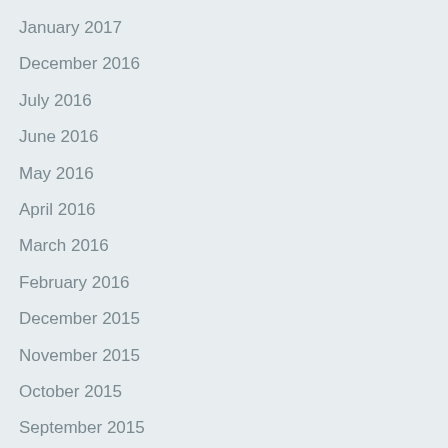January 2017
December 2016
July 2016
June 2016
May 2016
April 2016
March 2016
February 2016
December 2015
November 2015
October 2015
September 2015
August 2015